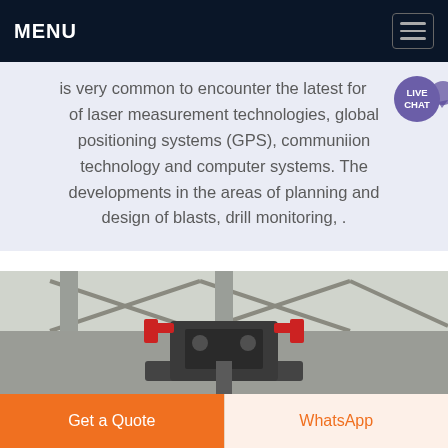MENU
is very common to encounter the latest forms of laser measurement technologies, global positioning systems (GPS), communiion technology and computer systems. The developments in the areas of planning and design of blasts, drill monitoring, .
[Figure (photo): Industrial drilling or mining equipment on a lift platform inside a large warehouse or industrial facility with steel roof trusses visible in the background.]
Get a Quote
WhatsApp